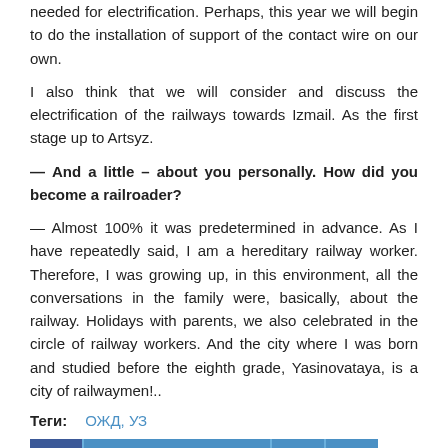needed for electrification. Perhaps, this year we will begin to do the installation of support of the contact wire on our own.
I also think that we will consider and discuss the electrification of the railways towards Izmail. As the first stage up to Artsyz.
— And a little – about you personally. How did you become a railroader?
— Almost 100% it was predetermined in advance. As I have repeatedly said, I am a hereditary railway worker. Therefore, I was growing up, in this environment, all the conversations in the family were, basically, about the railway. Holidays with parents, we also celebrated in the circle of railway workers. And the city where I was born and studied before the eighth grade, Yasinovataya, is a city of railwaymen!..
Теги:   ОЖД, УЗ
[Figure (infographic): Social share buttons: Facebook icon, Поделиться (Share) button, Google icon, Twitter icon]